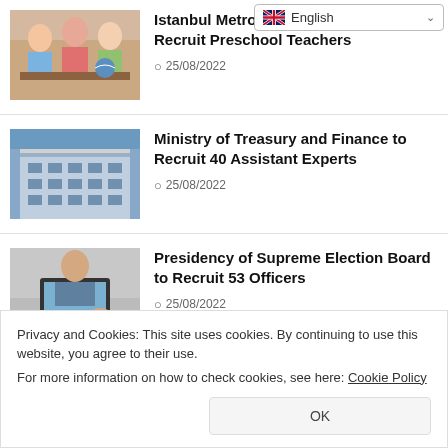[Figure (screenshot): Language selector dropdown showing English with flag icon]
[Figure (photo): Photo of children and teacher doing crafts at a table]
Istanbul Metropolitan Municipality Will Recruit Preschool Teachers
25/08/2022
[Figure (photo): Photo of a modern building exterior (Ministry of Treasury and Finance)]
Ministry of Treasury and Finance to Recruit 40 Assistant Experts
25/08/2022
[Figure (photo): Photo of a person working at a laptop in office setting]
Presidency of Supreme Election Board to Recruit 53 Officers
25/08/2022
Privacy and Cookies: This site uses cookies. By continuing to use this website, you agree to their use. For more information on how to check cookies, see here: Cookie Policy
[Figure (photo): Partially visible photo at bottom of page]
25/08/2022